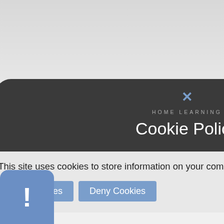[Figure (screenshot): Website screenshot showing a cookie policy popup modal on a dark rounded background over a light grey page. The modal contains a close (×) button, HOME LEARNING label, Cookie Policy title, descriptive text, and two blue buttons: Allow Cookies and Deny Cookies. To the right are white and yellow arrow buttons. Bottom left has a blue notification icon with exclamation mark.]
Cookie Policy
This site uses cookies to store information on your computer. Click here for more information
Allow Cookies
Deny Cookies